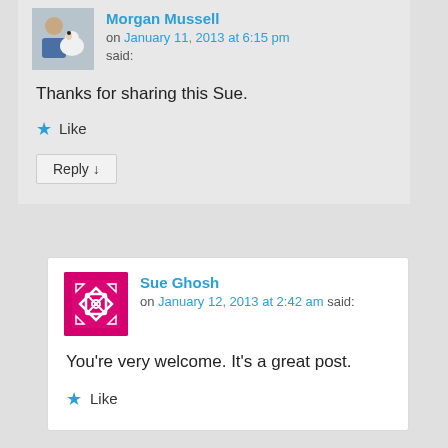Morgan Mussell on January 11, 2013 at 6:15 pm said:
Thanks for sharing this Sue.
Like
Reply ↓
Sue Ghosh on January 12, 2013 at 2:42 am said:
You're very welcome. It's a great post.
Like